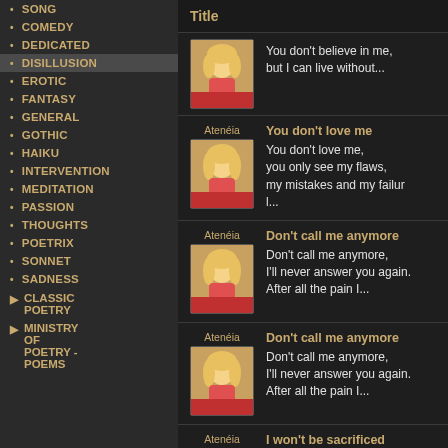SONG
COMEDY
DEDICATED
DISILLUSION
EROTIC
FANTASY
GENERAL
GOTHIC
HAIKU
INTERVENTION
MEDITATION
PASSION
THOUGHTS
POETRIX
SONNET
SADNESS
CLASSIC POETRY
MINISTRY OF POETRY - POEMS
Title
You don't believe in me, but I can live without...
Atenéia
You don't love me
You don't love me, you only see my flaws, my mistakes and my failures...
Atenéia
Don't call me anymore
Don't call me anymore, I'll never answer you again. After all the pain I...
Atenéia
Don't call me anymore
Don't call me anymore, I'll never answer you again. After all the pain I...
Atenéia
I won't be sacrificed